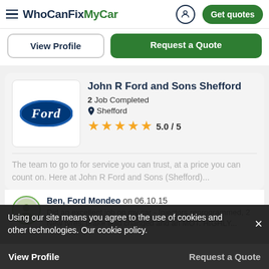WhoCanFixMyCar — Get quotes
View Profile | Request a Quote
John R Ford and Sons Shefford
2 Job Completed
Shefford
5.0 / 5
The team to go to for service you can trust, at a price you can count on. Here at John R Ford and Sons (Shefford)...
Ben, Ford Mondeo on 06.10.15
Did an excellent job on my car - Injectors reprogrammed, 2 New tyres, brake fluid changed and an MOT. HIGHLY...
Using our site means you agree to the use of cookies and other technologies. Our cookie policy.
View Profile — Request a Quote